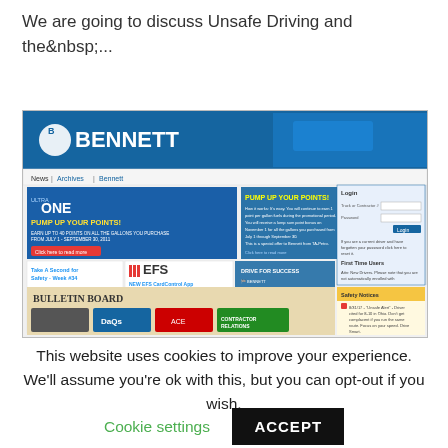We are going to discuss Unsafe Driving and the&nbsp;...
[Figure (screenshot): Screenshot of the Bennett trucking company website showing navigation, a 'Pump Up Your Points' promotion banner, news sections, Bulletin Board, EFS card app section, Annual Partnership Summit info, Login panel, and Safety Notices panel.]
This website uses cookies to improve your experience. We'll assume you're ok with this, but you can opt-out if you wish.
Cookie settings   ACCEPT